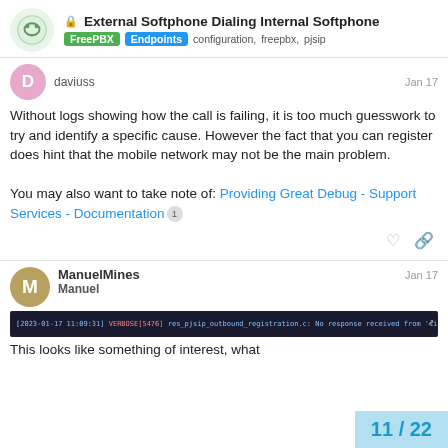External Softphone Dialing Internal Softphone | FreePBX | Endpoints configuration, freepbx, pjsip
daviuss  Jan 17
Without logs showing how the call is failing, it is too much guesswork to try and identify a specific cause. However the fact that you can register does hint that the mobile network may not be the main problem.
You may also want to take note of: Providing Great Debug - Support Services - Documentation 1
ManuelMines  Manuel  Jan 17
This looks like something of interest, what
11 / 22